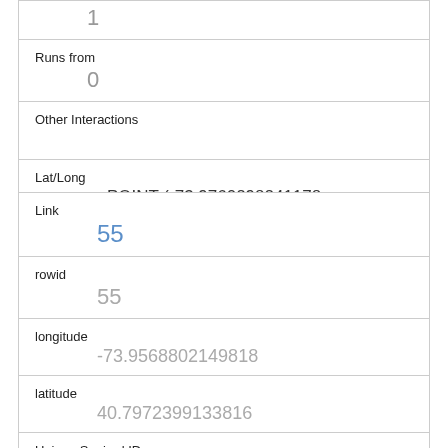| (label) [top partial] | 1 |
| Runs from | 0 |
| Other Interactions |  |
| Lat/Long | POINT (-73.9760298241178 40.7681954366911) |
| Link | 55 |
| rowid | 55 |
| longitude | -73.9568802149818 |
| latitude | 40.7972399133816 |
| Unique Squirrel ID | 39C-PM-1006-01 |
| Hectare | 39C |
| Shift |  |